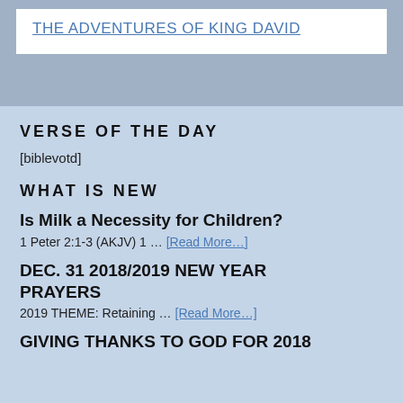THE ADVENTURES OF KING DAVID
VERSE OF THE DAY
[biblevotd]
WHAT IS NEW
Is Milk a Necessity for Children?
1 Peter 2:1-3 (AKJV) 1 … [Read More…]
DEC. 31 2018/2019 NEW YEAR PRAYERS
2019 THEME: Retaining … [Read More…]
GIVING THANKS TO GOD FOR 2018